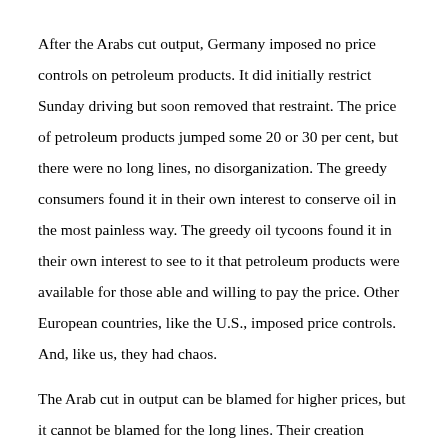After the Arabs cut output, Germany imposed no price controls on petroleum products. It did initially restrict Sunday driving but soon removed that restraint. The price of petroleum products jumped some 20 or 30 per cent, but there were no long lines, no disorganization. The greedy consumers found it in their own interest to conserve oil in the most painless way. The greedy oil tycoons found it in their own interest to see to it that petroleum products were available for those able and willing to pay the price. Other European countries, like the U.S., imposed price controls. And, like us, they had chaos.
The Arab cut in output can be blamed for higher prices, but it cannot be blamed for the long lines. Their creation required the cooperation of shortsighted governments.
The world crisis is now past its peak. The initial quadrupling of the price of crude oil after the Arab cut in output was not a permanent one; that has been...